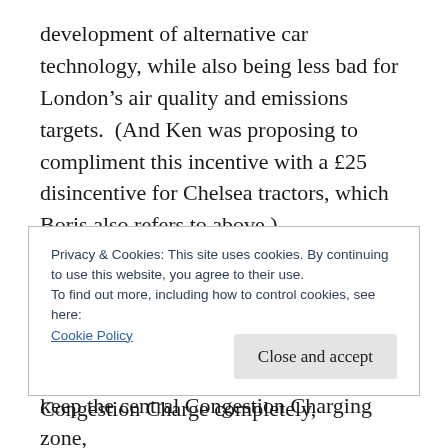development of alternative car technology, while also being less bad for London's air quality and emissions targets.  (And Ken was proposing to compliment this incentive with a £25 disincentive for Chelsea tractors, which Boris also refers to above.)
Boris didn't like all that nudging.  Nudging people's behaviour with taxes and charges was a nasty Nu Labour thing to do.  He couldn't get rid of the Congestion Charge completely,
Privacy & Cookies: This site uses cookies. By continuing to use this website, you agree to their use.
To find out more, including how to control cookies, see here:
Cookie Policy
[Close and accept]
keep the central Congestion Charging zone,